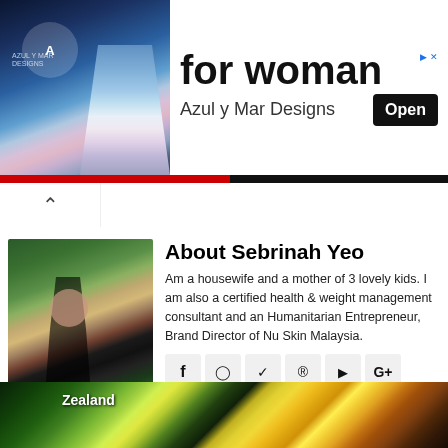[Figure (photo): Advertisement banner with colorful fabric/clothing image on left, text 'for woman' and 'Azul y Mar Designs' with Open button on right]
[Figure (photo): Profile photo of Sebrinah Yeo seated outdoors near plants and a chair]
About Sebrinah Yeo
Am a housewife and a mother of 3 lovely kids. I am also a certified health & weight management consultant and an Humanitarian Entrepreneur, Brand Director of Nu Skin Malaysia.
[Figure (infographic): Social media icons: Facebook, Instagram, Twitter, Pinterest, YouTube, Google+, LinkedIn, RSS]
[Figure (photo): Bottom image showing colorful holographic/iridescent travel documents with 'Zealand' text visible]